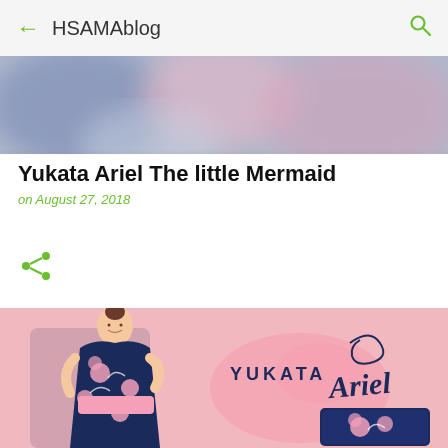HSAMAblog
[Figure (photo): Blurred hero banner image with pink and blue tones]
Yukata Ariel The little Mermaid
on August 27, 2018
[Figure (illustration): Share icon (green network/share symbol)]
[Figure (photo): Yukata Ariel product image: woman wearing dark navy blue floral yukata with pink flowers and pink obi sash, smiling, with YUKATA Ariel script text on pink background, and a navy clutch bag with floral design]